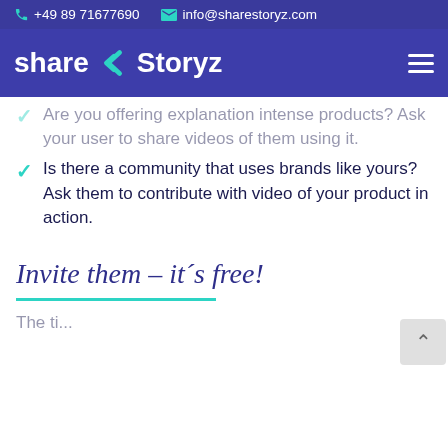+49 89 71677690   info@sharestoryz.com
[Figure (logo): share Storyz logo with teal S icon and hamburger menu]
Are you offering explanation intense products? Ask your user to share videos of them using it.
Is there a community that uses brands like yours? Ask them to contribute with video of your product in action.
Invite them – it´s free!
The ti...